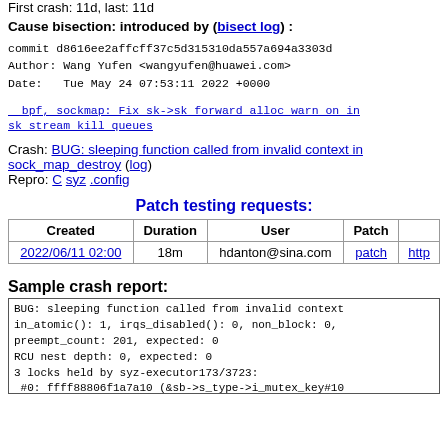First crash: 11d, last: 11d
Cause bisection: introduced by (bisect log) :
commit d8616ee2affcff37c5d315310da557a694a3303d
Author: Wang Yufen <wangyufen@huawei.com>
Date:   Tue May 24 07:53:11 2022 +0000
bpf, sockmap: Fix sk->sk forward alloc warn on in sk stream kill queues
Crash: BUG: sleeping function called from invalid context in sock_map_destroy (log)
Repro: C syz .config
Patch testing requests:
| Created | Duration | User | Patch |  |
| --- | --- | --- | --- | --- |
| 2022/06/11 02:00 | 18m | hdanton@sina.com | patch | http |
Sample crash report:
BUG: sleeping function called from invalid context
in_atomic(): 1, irqs_disabled(): 0, non_block: 0,
preempt_count: 201, expected: 0
RCU nest depth: 0, expected: 0
3 locks held by syz-executor173/3723:
 #0: ffff88806f1a7a10 (&sb->s_type->i_mutex_key#10